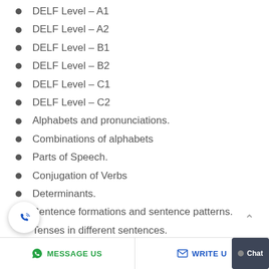DELF Level – A1
DELF Level – A2
DELF Level – B1
DELF Level – B2
DELF Level – C1
DELF Level – C2
Alphabets and pronunciations.
Combinations of alphabets
Parts of Speech.
Conjugation of Verbs
Determinants.
Sentence formations and sentence patterns.
Tenses in different sentences.
Commutative Grammar
MESSAGE US   WRITE U   Chat